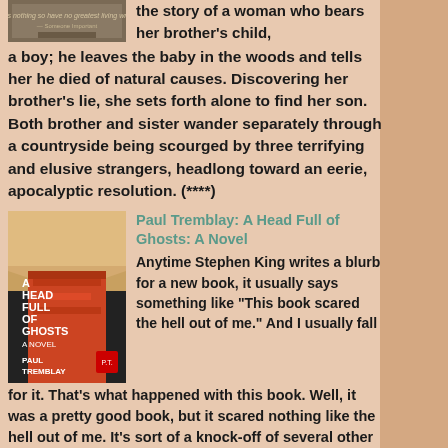[Figure (illustration): Book cover image at top left, partially visible]
the story of a woman who bears her brother's child, a boy; he leaves the baby in the woods and tells her he died of natural causes. Discovering her brother's lie, she sets forth alone to find her son. Both brother and sister wander separately through a countryside being scourged by three terrifying and elusive strangers, headlong toward an eerie, apocalyptic resolution. (****)
[Figure (illustration): Book cover of 'A Head Full of Ghosts: A Novel' by Paul Tremblay]
Paul Tremblay: A Head Full of Ghosts: A Novel
Anytime Stephen King writes a blurb for a new book, it usually says something like "This book scared the hell out of me." And I usually fall for it. That's what happened with this book. Well, it was a pretty good book, but it scared nothing like the hell out of me. It's sort of a knock-off of several other